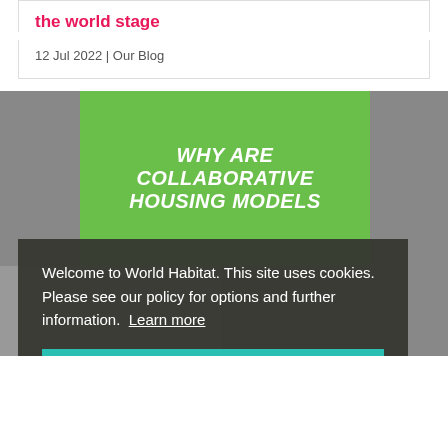the world stage
12 Jul 2022 | Our Blog
[Figure (photo): A green presentation slide displaying 'WHY ARE COLLABORATIVE HOUSING MODELS' in white bold italic text, with people visible in the lower portion of the image against a grey background.]
Welcome to World Habitat. This site uses cookies. Please see our policy for options and further information. Learn more
Got it!